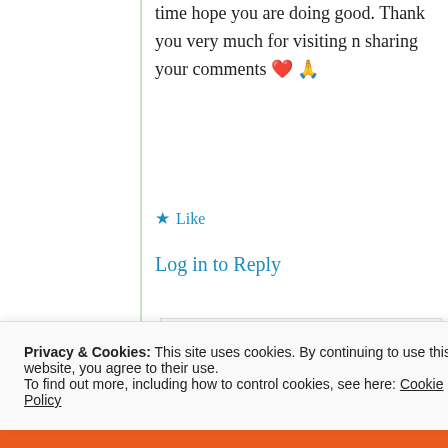time hope you are doing good. Thank you very much for visiting n sharing your comments ❤️ 🙏
★ Like
Log in to Reply
[Figure (photo): Circular avatar photo of sanjay ranout]
sanjay ranout
2nd Jul 2021 at
Privacy & Cookies: This site uses cookies. By continuing to use this website, you agree to their use.
To find out more, including how to control cookies, see here: Cookie Policy
Close and accept